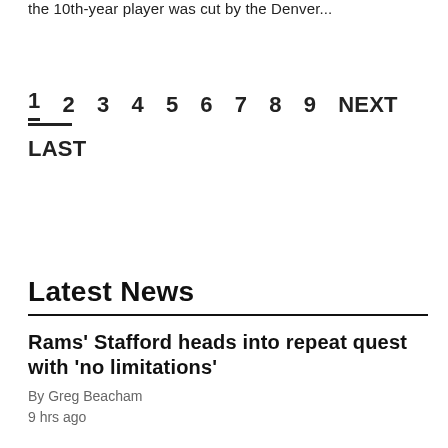the 10th-year player was cut by the Denver...
1  2  3  4  5  6  7  8  9  NEXT
LAST
Latest News
Rams' Stafford heads into repeat quest with 'no limitations'
By Greg Beacham
9 hrs ago